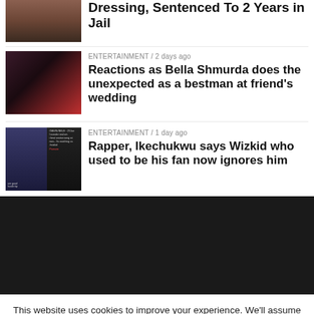[Figure (photo): Partial thumbnail of a person, cropped at top of page]
Dressing, Sentenced To 2 Years in Jail
[Figure (photo): Thumbnail of Bella Shmurda]
ENTERTAINMENT / 2 days ago
Reactions as Bella Shmurda does the unexpected as a bestman at friend's wedding
[Figure (screenshot): Thumbnail showing a screenshot of social media post about Ikechukwu and Wizkid]
ENTERTAINMENT / 1 day ago
Rapper, Ikechukwu says Wizkid who used to be his fan now ignores him
[Figure (other): Dark advertisement or banner section]
This website uses cookies to improve your experience. We'll assume you're ok with this, but you can opt-out if you wish.